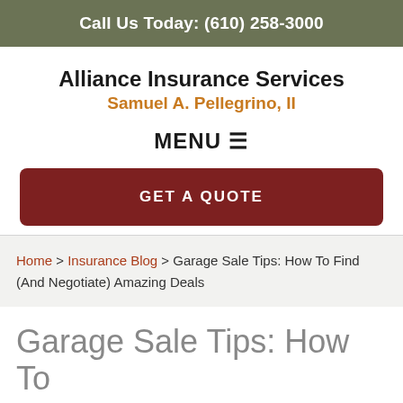Call Us Today: (610) 258-3000
Alliance Insurance Services
Samuel A. Pellegrino, II
MENU ☰
GET A QUOTE
Home > Insurance Blog > Garage Sale Tips: How To Find (And Negotiate) Amazing Deals
Garage Sale Tips: How To